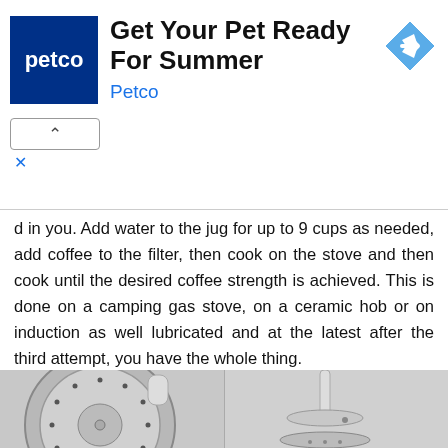[Figure (infographic): Petco advertisement banner showing Petco logo (dark blue square with white 'petco' text), headline 'Get Your Pet Ready For Summer', subtitle 'Petco' in blue, and a blue diamond-shaped icon with a right-arrow. Below are collapse (^) and dismiss (x) buttons.]
d in you. Add water to the jug for up to 9 cups as needed, add coffee to the filter, then cook on the stove and then cook until the desired coffee strength is achieved. This is done on a camping gas stove, on a ceramic hob or on induction as well lubricated and at the latest after the third attempt, you have the whole thing.
[Figure (photo): Two black-and-white photographs of moka pot components. Left image shows a top-down view of the moka pot filter basket with small holes arranged in a circle pattern and a central stem. Right image shows a side view of the moka pot parts separated: the funnel/filter basket and the base, with the central tube extending upward.]